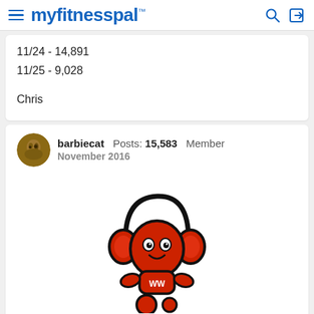myfitnesspal
11/24 - 14,891
11/25 - 9,028

Chris
barbiecat Posts: 15,583 Member
November 2016
[Figure (illustration): Red cartoon robot/character wearing headphones with 'WW' on its body, sitting cross-legged]